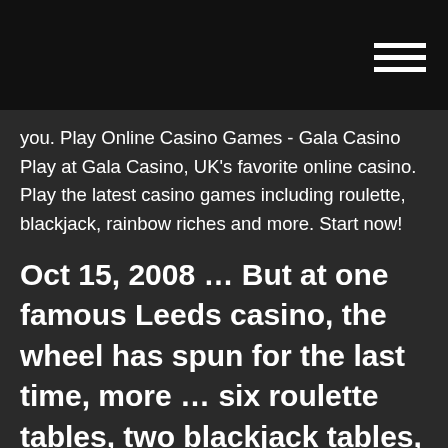[hamburger menu icon]
you. Play Online Casino Games - Gala Casino Play at Gala Casino, UK's favorite online casino. Play the latest casino games including roulette, blackjack, rainbow riches and more. Start now!
Oct 15, 2008 ... But at one famous Leeds casino, the wheel has spun for the last time, more ... six roulette tables, two blackjack tables, one casino stud poker table, ... two Grosvenor Casinos in Leeds, blamed the rise in casino gaming duty for